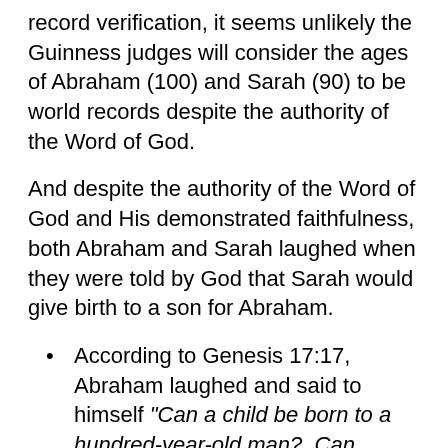record verification, it seems unlikely the Guinness judges will consider the ages of Abraham (100) and Sarah (90) to be world records despite the authority of the Word of God.
And despite the authority of the Word of God and His demonstrated faithfulness, both Abraham and Sarah laughed when they were told by God that Sarah would give birth to a son for Abraham.
According to Genesis 17:17, Abraham laughed and said to himself "Can a child be born to a hundred-year-old man?  Can Sarah, a ninety-year-old woman, give birth?"
According to Genesis 18:12, Sarah